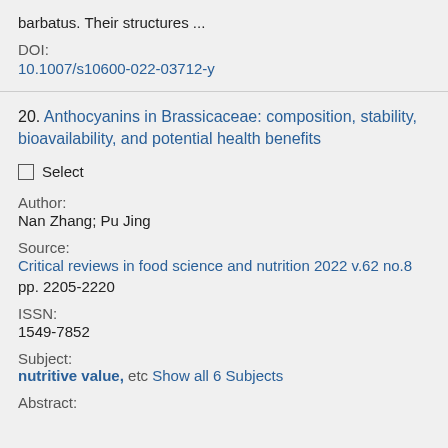barbatus. Their structures …
DOI:
10.1007/s10600-022-03712-y
20. Anthocyanins in Brassicaceae: composition, stability, bioavailability, and potential health benefits
Select
Author:
Nan Zhang; Pu Jing
Source:
Critical reviews in food science and nutrition 2022 v.62 no.8 pp. 2205-2220
ISSN:
1549-7852
Subject:
nutritive value,  etc  Show all 6 Subjects
Abstract: